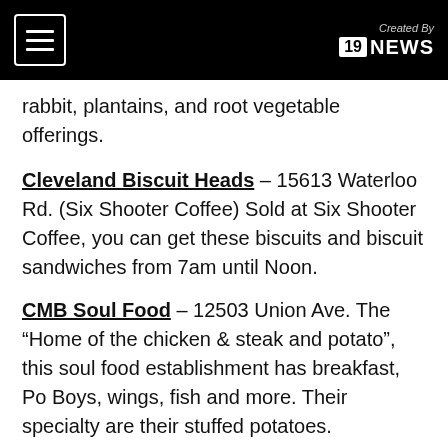Created By 19 NEWS
rabbit, plantains, and root vegetable offerings.
Cleveland Biscuit Heads – 15613 Waterloo Rd. (Six Shooter Coffee) Sold at Six Shooter Coffee, you can get these biscuits and biscuit sandwiches from 7am until Noon.
CMB Soul Food – 12503 Union Ave. The “Home of the chicken & steak and potato”, this soul food establishment has breakfast, Po Boys, wings, fish and more. Their specialty are their stuffed potatoes.
The Columbo Room – 1988 Noble Rd. Bar with